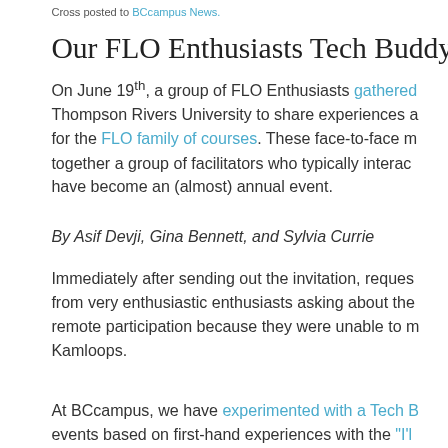Cross posted to BCcampus News.
Our FLO Enthusiasts Tech Buddyship [...]
On June 19th, a group of FLO Enthusiasts gathered [...] Thompson Rivers University to share experiences [...] for the FLO family of courses. These face-to-face m[eetings bring] together a group of facilitators who typically interac[t online and] have become an (almost) annual event.
By Asif Devji, Gina Bennett, and Sylvia Currie
Immediately after sending out the invitation, reques[ts came in] from very enthusiastic enthusiasts asking about the[ir options for] remote participation because they were unable to m[ake it to] Kamloops.
At BCcampus, we have experimented with a Tech B[uddyship at] events based on first-hand experiences with the "I'[ll be there]